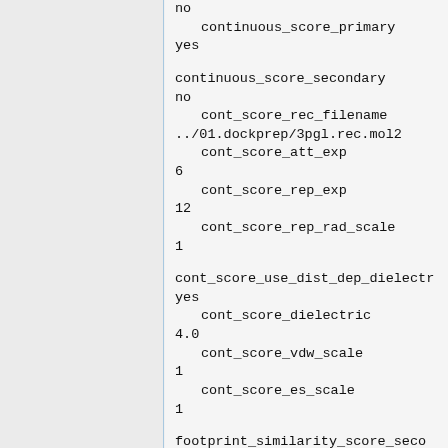no
  continuous_score_primary
yes

continuous_score_secondary
no
  cont_score_rec_filename
../01.dockprep/3pgl.rec.mol2
  cont_score_att_exp
6
  cont_score_rep_exp
12
  cont_score_rep_rad_scale
1

cont_score_use_dist_dep_dielectr
yes
  cont_score_dielectric
4.0
  cont_score_vdw_scale
1
  cont_score_es_scale
1

footprint_similarity_score_seco